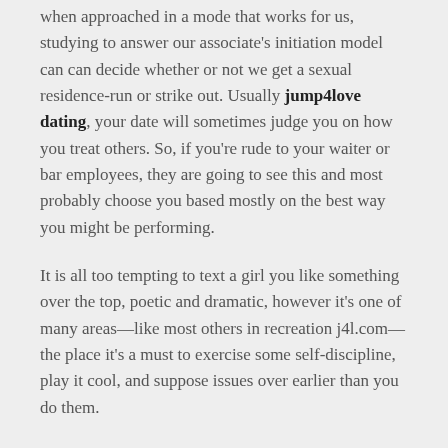when approached in a mode that works for us, studying to answer our associate's initiation model can can decide whether or not we get a sexual residence-run or strike out. Usually jump4love dating, your date will sometimes judge you on how you treat others. So, if you're rude to your waiter or bar employees, they are going to see this and most probably choose you based mostly on the best way you might be performing.
It is all too tempting to text a girl you like something over the top, poetic and dramatic, however it's one of many areas—like most others in recreation j4l.com—the place it's a must to exercise some self-discipline, play it cool, and suppose issues over earlier than you do them.